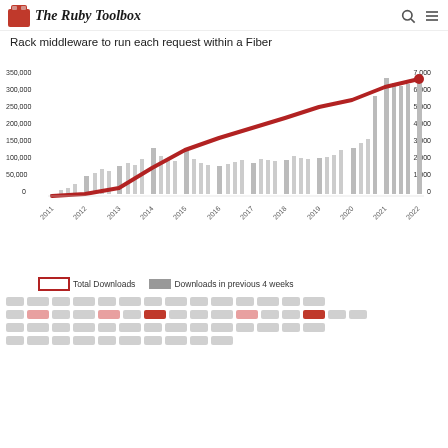The Ruby Toolbox
Rack middleware to run each request within a Fiber
[Figure (line-chart): Total Downloads / Downloads in previous 4 weeks]
Total Downloads    Downloads in previous 4 weeks
[skeleton loading blocks]